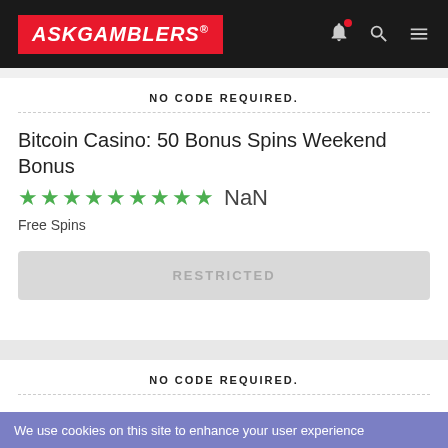ASKGAMBLERS
NO CODE REQUIRED.
Bitcoin Casino: 50 Bonus Spins Weekend Bonus
★★★★★★★★★ NaN
Free Spins
RESTRICTED
NO CODE REQUIRED.
Bitcoin Casino: 20 Bonus Spins Weekend Bonus
★★★★★★★★★ NaN
Free Spins
RESTRICTED
We use cookies on this site to enhance your user experience